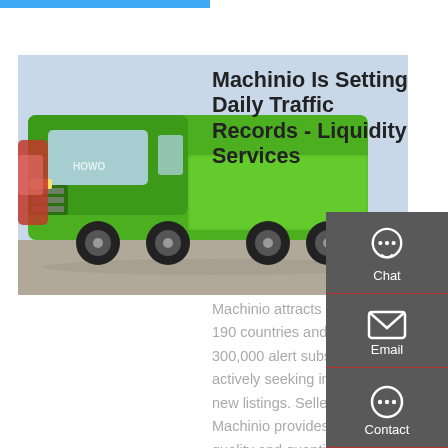[Figure (photo): Green heavy-duty dump truck / flatbed truck parked outdoors, with a red truck visible in the background]
Machinio Is Setting Daily Traffic Records - Liquidity Services
Machinio attracts buyers from 190 countries and has over 300,000 alert subscribers actively seeking information on new listings. Sellers report that Machinio provides an increased quality and quantity of leads, a broader range of prospective